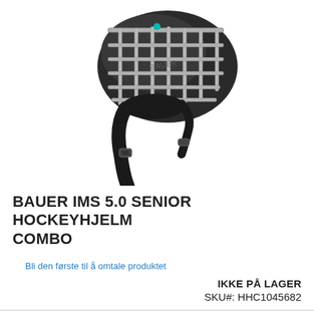[Figure (photo): Photo of a Bauer IMS 5.0 hockey helmet combo showing the silver wire cage with black straps and chin guard against a white background.]
BAUER IMS 5.0 SENIOR HOCKEYHJELM COMBO
Bli den første til å omtale produktet
IKKE PÅ LAGER
SKU#:  HHC1045682